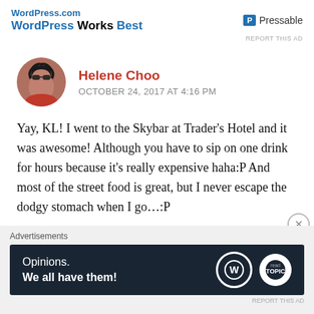[Figure (screenshot): Top banner with WordPress Works Best text and Pressable logo]
REPORT THIS AD
Helene Choo
OCTOBER 24, 2017 AT 4:16 PM
Yay, KL! I went to the Skybar at Trader's Hotel and it was awesome! Although you have to sip on one drink for hours because it's really expensive haha:P And most of the street food is great, but I never escape the dodgy stomach when I go…:P
Liked by 1 person
Advertisements
[Figure (screenshot): Advertisement banner: Opinions. We all have them! with WordPress and Topic logos on dark background]